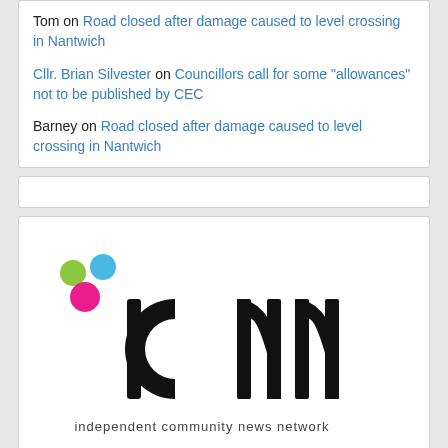Tom on Road closed after damage caused to level crossing in Nantwich
Cllr. Brian Silvester on Councillors call for some "allowances" not to be published by CEC
Barney on Road closed after damage caused to level crossing in Nantwich
[Figure (logo): ICNN logo — independent community news network, with colored dots (green, blue, magenta) above stylized 'icnn' text]
Latest tweets